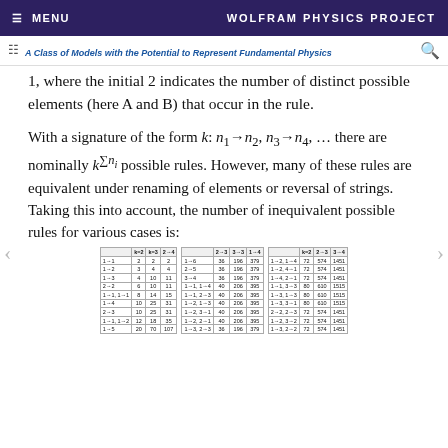≡ MENU   WOLFRAM PHYSICS PROJECT
A Class of Models with the Potential to Represent Fundamental Physics
1, where the initial 2 indicates the number of distinct possible elements (here A and B) that occur in the rule.
With a signature of the form k: n₁→n₂, n₃→n₄, … there are nominally k^(Σnᵢ) possible rules. However, many of these rules are equivalent under renaming of elements or reversal of strings. Taking this into account, the number of inequivalent possible rules for various cases is:
|  | k=2 | k=3 | k=4 |
| --- | --- | --- | --- |
| 1→1 | 2 | 2 | 2 |
| 1→2 | 3 | 4 | 4 |
| 1→3 | 4 | 10 | 11 |
| 2→2 | 6 | 10 | 11 |
| 1→1, 1→1 | 8 | 14 | 15 |
| 1→4 | 10 | 25 | 31 |
| 2→3 | 10 | 25 | 31 |
| 1→1, 1→2 | 12 | 18 | 35 |
| 1→5 | 20 | 70 | 107 |
|  | 2→3 | 3→3 | 1→4 |
| --- | --- | --- | --- |
| 1→6 | 36 | 196 | 379 |
| 2→5 | 36 | 196 | 379 |
| 3→4 | 36 | 196 | 379 |
| 1→1, 1→4 | 40 | 206 | 395 |
| 1→1, 2→3 | 40 | 206 | 395 |
| 1→2, 1→3 | 40 | 206 | 395 |
| 1→2, 3→1 | 40 | 206 | 395 |
| 1→2, 2→1 | 40 | 206 | 395 |
| 1→3, 2→3 | 36 | 196 | 379 |
|  | k=2 | 2→3 | 3→3 |
| --- | --- | --- | --- |
| 1→2, 1→4 | 72 | 574 | 1451 |
| 1→2, 4→1 | 72 | 574 | 1451 |
| 1→4, 2→1 | 72 | 574 | 1451 |
| 1→1, 3→3 | 80 | 610 | 1515 |
| 1→3, 1→3 | 80 | 610 | 1515 |
| 1→3, 3→1 | 80 | 610 | 1515 |
| 2→2, 2→3 | 72 | 574 | 1451 |
| 1→2, 3→2 | 72 | 574 | 1451 |
| 1→3, 2→2 | 72 | 574 | 1451 |